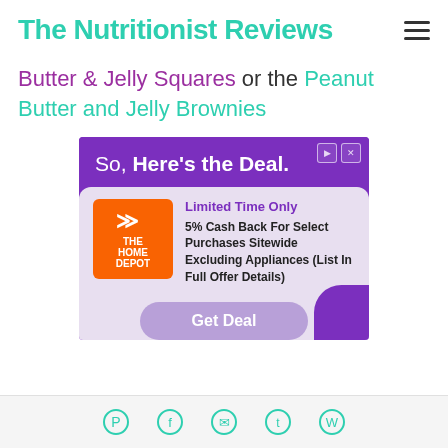The Nutritionist Reviews
Butter & Jelly Squares or the Peanut Butter and Jelly Brownies
[Figure (screenshot): Home Depot advertisement: 'So, Here's the Deal.' with Limited Time Only offer - 5% Cash Back For Select Purchases Sitewide Excluding Appliances (List In Full Offer Details). Get Deal button.]
Social share icons: Pinterest, Facebook, Email, Twitter, WhatsApp